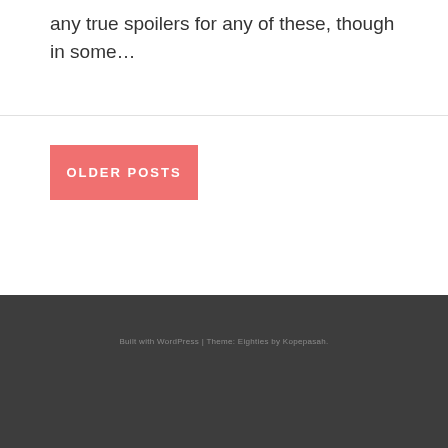any true spoilers for any of these, though in some…
OLDER POSTS
Built with WordPress | Theme: Eighties by Kopepasah.